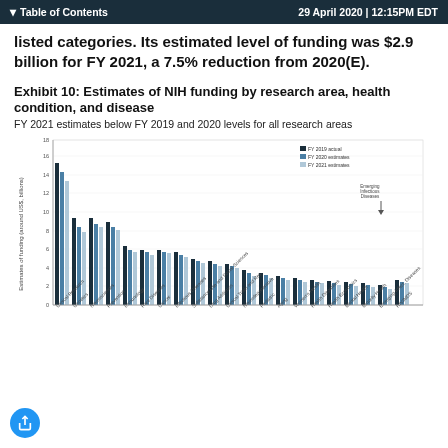Table of Contents | 29 April 2020 | 12:15PM EDT
listed categories. Its estimated level of funding was $2.9 billion for FY 2021, a 7.5% reduction from 2020(E).
Exhibit 10: Estimates of NIH funding by research area, health condition, and disease
FY 2021 estimates below FY 2019 and 2020 levels for all research areas
[Figure (grouped-bar-chart): Estimates of NIH funding by research area, health condition, and disease]